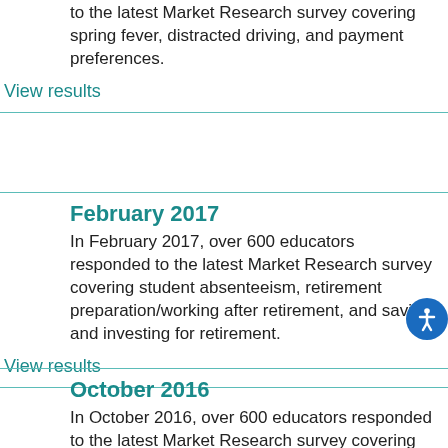to the latest Market Research survey covering spring fever, distracted driving, and payment preferences.
View results
February 2017
In February 2017, over 600 educators responded to the latest Market Research survey covering student absenteeism, retirement preparation/working after retirement, and saving and investing for retirement.
View results
October 2016
In October 2016, over 600 educators responded to the latest Market Research survey covering financial workshops,